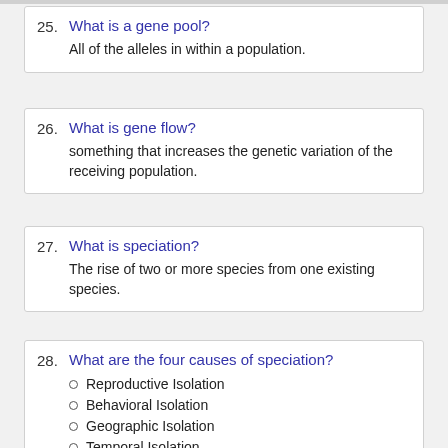25. What is a gene pool?
All of the alleles in within a population.
26. What is gene flow?
something that increases the genetic variation of the receiving population.
27. What is speciation?
The rise of two or more species from one existing species.
28. What are the four causes of speciation?
Reproductive Isolation
Behavioral Isolation
Geographic Isolation
Temporal Isolation